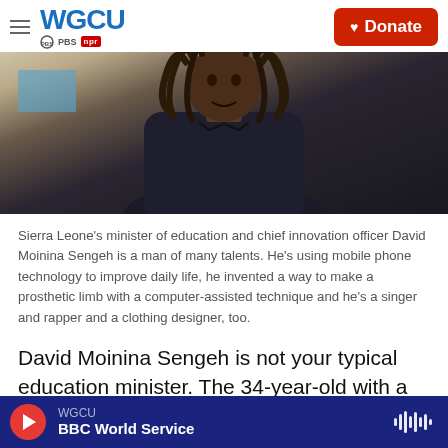WGCU PBS NPR | Donate
[Figure (photo): Close-up photo of David Moinina Sengeh, a man with dreadlocks wearing a dark navy jacket, standing in front of a weathered wall with blue trim.]
Sierra Leone's minister of education and chief innovation officer David Moinina Sengeh is a man of many talents. He's using mobile phone technology to improve daily life, he invented a way to make a prosthetic limb with a computer-assisted technique and he's a singer and rapper and a clothing designer, too.
David Moinina Sengeh is not your typical education minister. The 34-year-old with a Ph.D. from MIT not only oversees the public schools in Sierra Leone,
WGCU | BBC World Service